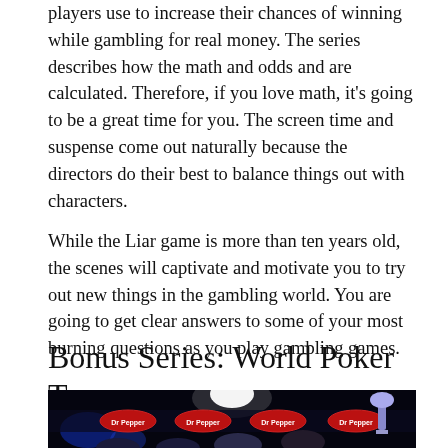players use to increase their chances of winning while gambling for real money. The series describes how the math and odds and are calculated. Therefore, if you love math, it's going to be a great time for you. The screen time and suspense come out naturally because the directors do their best to balance things out with characters.
While the Liar game is more than ten years old, the scenes will captivate and motivate you to try out new things in the gambling world. You are going to get clear answers to some of your most burning questions as you play gambling games.
Bonus Series: World Poker Tour
[Figure (photo): People celebrating at the World Poker Tour event with Dr Pepper sponsorship banners in the background. A person is raising a trophy on the right side while others celebrate.]